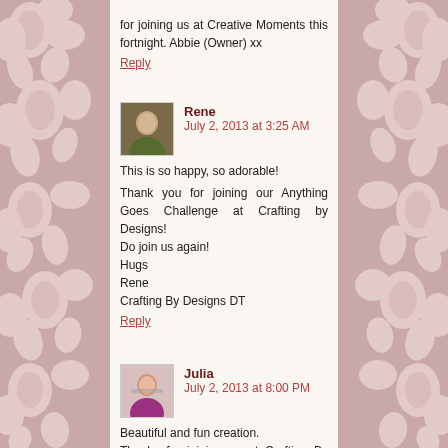for joining us at Creative Moments this fortnight. Abbie (Owner) xx
Reply
Rene  July 2, 2013 at 3:25 AM
This is so happy, so adorable!
Thank you for joining our Anything Goes Challenge at Crafting by Designs!
Do join us again!
Hugs
Rene
Crafting By Designs DT
Reply
Julia  July 2, 2013 at 8:00 PM
Beautiful and fun creation.
Thanks for joining us at Crafting By Designs.